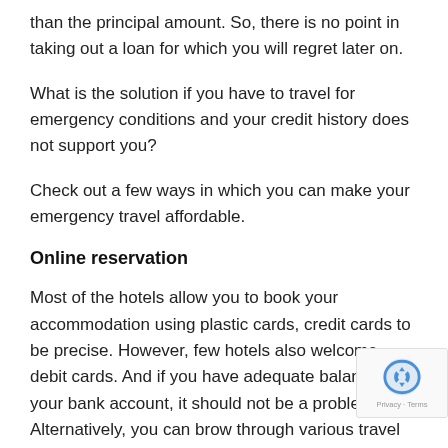than the principal amount. So, there is no point in taking out a loan for which you will regret later on.
What is the solution if you have to travel for emergency conditions and your credit history does not support you?
Check out a few ways in which you can make your emergency travel affordable.
Online reservation
Most of the hotels allow you to book your accommodation using plastic cards, credit cards to be precise. However, few hotels also welcome debit cards. And if you have adequate balance in your bank account, it should not be a problem. Alternatively, you can brow through various travel and hotel booking websites t will offer cheaper rates that you can afford. There are tools